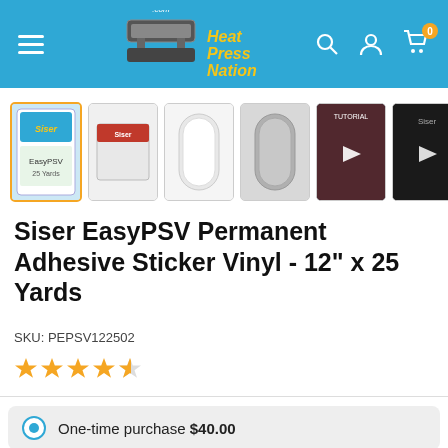[Figure (screenshot): HeatPressNation.com e-commerce website header with logo, hamburger menu, search icon, user icon, and cart icon with badge showing 0]
[Figure (photo): Product thumbnail gallery showing 7 thumbnails: product package, box, vinyl rolls, and video thumbnails]
Siser EasyPSV Permanent Adhesive Sticker Vinyl - 12" x 25 Yards
SKU: PEPSV122502
[Figure (other): 4.5 out of 5 star rating shown as orange stars]
One-time purchase $40.00
Subscribe & save 10% $36.00